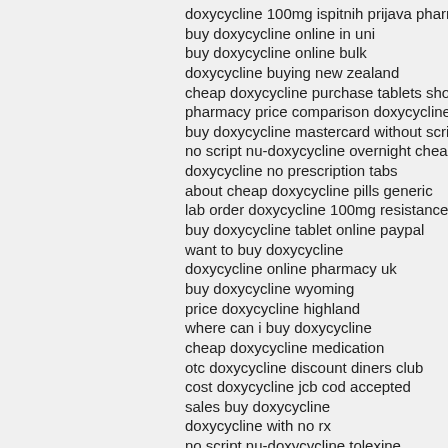doxycycline 100mg ispitnih prijava pharmacy
buy doxycycline online in uni
buy doxycycline online bulk
doxycycline buying new zealand
cheap doxycycline purchase tablets shop
pharmacy price comparison doxycycline
buy doxycycline mastercard without script
no script nu-doxycycline overnight cheapest
doxycycline no prescription tabs
about cheap doxycycline pills generic
lab order doxycycline 100mg resistance
buy doxycycline tablet online paypal
want to buy doxycycline
doxycycline online pharmacy uk
buy doxycycline wyoming
price doxycycline highland
where can i buy doxycycline
cheap doxycycline medication
otc doxycycline discount diners club
cost doxycycline jcb cod accepted
sales buy doxycycline
doxycycline with no rx
no script nu-doxycycline tolexine
generic doxycycline cod accepted
no script doxycycline internet discount